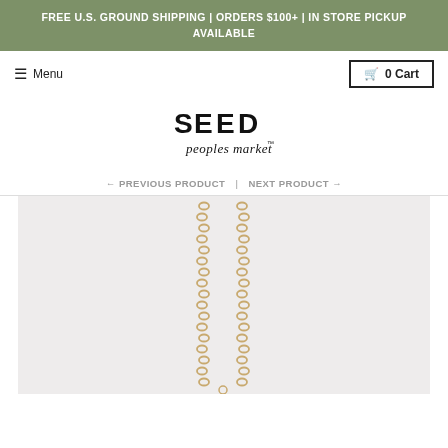FREE U.S. GROUND SHIPPING | ORDERS $100+ | IN STORE PICKUP AVAILABLE
☰ Menu
🛒 0 Cart
[Figure (logo): Seed Peoples Market logo — stylized bold 'SEED' text above script 'peoples market']
← PREVIOUS PRODUCT  |  NEXT PRODUCT →
[Figure (photo): Close-up of a gold chain necklace against a light gray background, showing chain links hanging down]